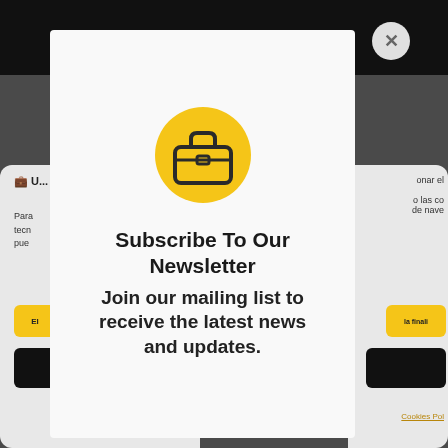[Figure (screenshot): Background webpage with dark overlay, showing partial Spanish text about cookies/navigation and yellow/black buttons. A newsletter subscription modal popup is overlaid on top with a close button.]
[Figure (illustration): Yellow circular icon with a briefcase/bag outline in dark color, centered in the modal popup.]
Subscribe To Our Newsletter
Join our mailing list to receive the latest news and updates.